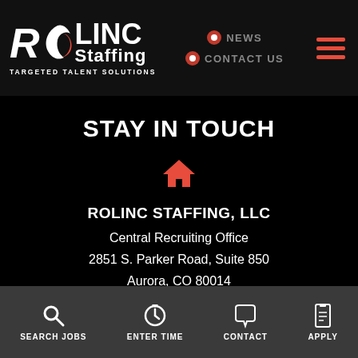[Figure (logo): RoLinc Staffing logo with text TARGETED TALENT SOLUTIONS]
NEWS
CONTACT US
STAY IN TOUCH
ROLINC STAFFING, LLC
Central Recruiting Office
2851 S. Parker Road, Suite 850
Aurora, CO 80014
DIRECTIONS
SEARCH JOBS  ENTER TIME  CONTACT  APPLY